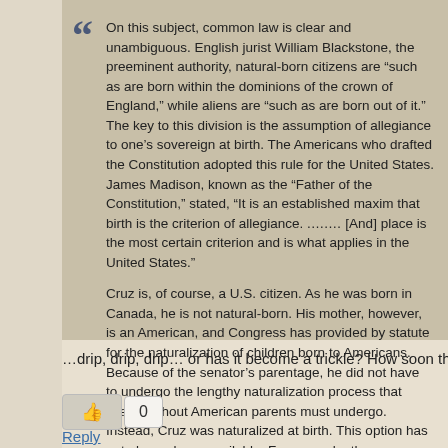On this subject, common law is clear and unambiguous. English jurist William Blackstone, the preeminent authority, natural-born citizens are “such as are born within the dominions of the crown of England,” while aliens are “such as are born out of it.” The key to this division is the assumption of allegiance to one’s sovereign at birth. The Americans who drafted the Constitution adopted this rule for the United States. James Madison, known as the “Father of the Constitution,” stated, “It is an established maxim that birth is the criterion of allegiance. .….… [And] place is the most certain criterion and is what applies in the United States.” Cruz is, of course, a U.S. citizen. As he was born in Canada, he is not natural-born. His mother, however, is an American, and Congress has provided by statute for the naturalization of children born to Americans. Because of the senator’s parentage, he did not have to undergo the lengthy naturalization process that aliens without American parents must undergo. Instead, Cruz was naturalized at birth. This option has not always been available. For example, there were several periods in the 18th century when children of Americans born abroad were not eligible for naturalization.
…drip, drip, drip… or has it become a trickle? How soon the flood? 😊
0
Reply